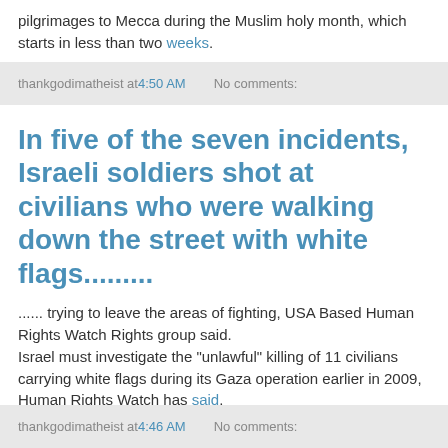pilgrimages to Mecca during the Muslim holy month, which starts in less than two weeks.
thankgodimatheist at 4:50 AM   No comments:
In five of the seven incidents, Israeli soldiers shot at civilians who were walking down the street with white flags.........
...... trying to leave the areas of fighting, USA Based Human Rights Watch Rights group said.
Israel must investigate the "unlawful" killing of 11 civilians carrying white flags during its Gaza operation earlier in 2009, Human Rights Watch has said.
thankgodimatheist at 4:46 AM   No comments: